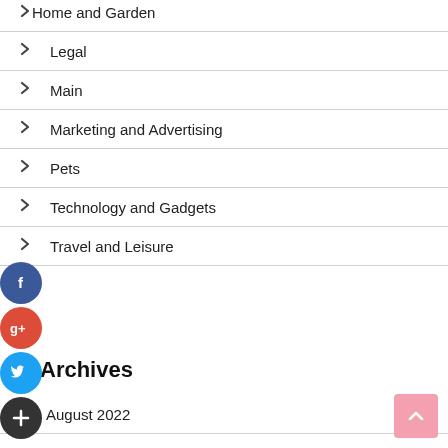Home and Garden
Legal
Main
Marketing and Advertising
Pets
Technology and Gadgets
Travel and Leisure
[Figure (illustration): Social media sharing icons: Facebook (blue), Google+ (red), Twitter (blue), Add/More (dark)]
Archives
August 2022